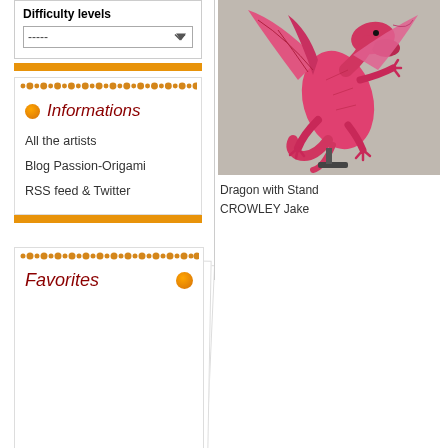Difficulty levels
-----
Informations
All the artists
Blog Passion-Origami
RSS feed & Twitter
Favorites
[Figure (photo): Pink origami dragon with stand, photographed on a neutral background. The dragon is folded from pink/magenta paper and appears to have wings spread, claws, and a serpentine body mounted on a stand.]
Dragon with Stand
CROWLEY Jake